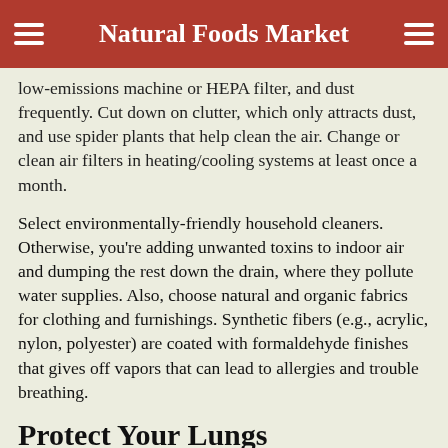Natural Foods Market
low-emissions machine or HEPA filter, and dust frequently. Cut down on clutter, which only attracts dust, and use spider plants that help clean the air. Change or clean air filters in heating/cooling systems at least once a month.
Select environmentally-friendly household cleaners. Otherwise, you're adding unwanted toxins to indoor air and dumping the rest down the drain, where they pollute water supplies. Also, choose natural and organic fabrics for clothing and furnishings. Synthetic fibers (e.g., acrylic, nylon, polyester) are coated with formaldehyde finishes that gives off vapors that can lead to allergies and trouble breathing.
Protect Your Lungs